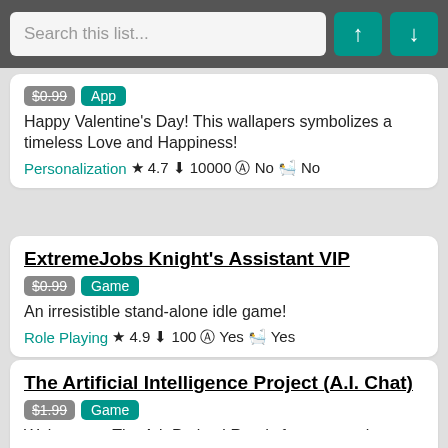Search this list...
Happy Valentine's Day! This wallapers symbolizes a timeless Love and Happiness! | $0.99 App | Personalization ★ 4.7 ↓ 10000 No No
ExtremeJobs Knight's Assistant VIP | $0.99 Game | An irresistible stand-alone idle game! | Role Playing ★ 4.9 ↓ 100 Yes Yes
The Artificial Intelligence Project (A.I. Chat) | $1.99 Game | Welcome to The A.I. Project! Ready for an amazing conversation? | Simulation ★ 3.0 ↓ 1000 No No